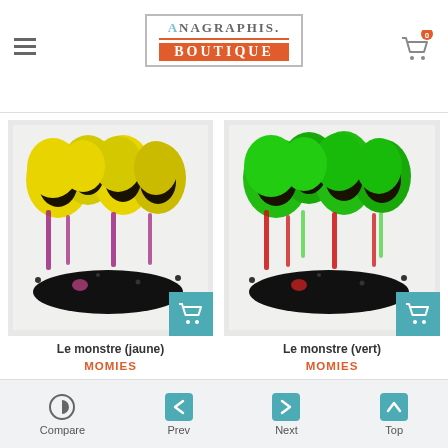ANAGRAPHIS BOUTIQUE
[Figure (photo): Artwork titled Le monstre (jaune) - yellow drip paint lettering on light background]
Le monstre (jaune)
MOMIES
180,00 €
[Figure (photo): Artwork titled Le monstre (vert) - green drip paint lettering on light background]
Le monstre (vert)
MOMIES
180,00 €
Compare  Prev  Next  Top